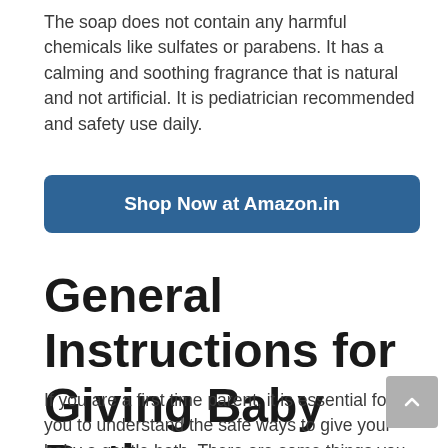The soap does not contain any harmful chemicals like sulfates or parabens. It has a calming and soothing fragrance that is natural and not artificial. It is pediatrician recommended and safety use daily.
[Figure (other): Blue rounded rectangle button with white bold text 'Shop Now at Amazon.in']
General Instructions for Giving Baby Bath
If you are a first time parent, it is essential for you to understand the safe ways to give your baby a gentle bath. There are some things you might not be aware of and thus, we are here to help you.